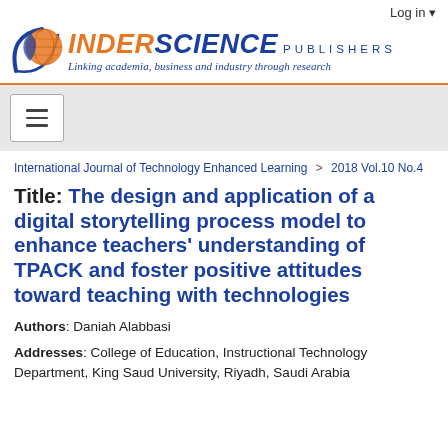Log in
[Figure (logo): Inderscience Publishers logo with globe icon, orange INDER and blue SCIENCE text, tagline: Linking academia, business and industry through research]
International Journal of Technology Enhanced Learning > 2018 Vol.10 No.4
Title: The design and application of a digital storytelling process model to enhance teachers' understanding of TPACK and foster positive attitudes toward teaching with technologies
Authors: Daniah Alabbasi
Addresses: College of Education, Instructional Technology Department, King Saud University, Riyadh, Saudi Arabia